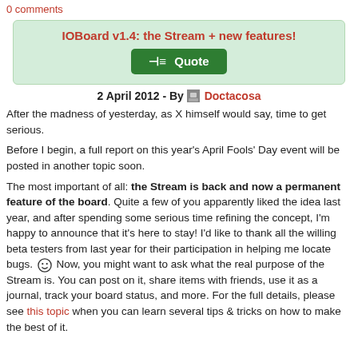0 comments
IOBoard v1.4: the Stream + new features!
+ Quote
2 April 2012 - By Doctacosa
After the madness of yesterday, as X himself would say, time to get serious.
Before I begin, a full report on this year's April Fools' Day event will be posted in another topic soon.
The most important of all: the Stream is back and now a permanent feature of the board. Quite a few of you apparently liked the idea last year, and after spending some serious time refining the concept, I'm happy to announce that it's here to stay! I'd like to thank all the willing beta testers from last year for their participation in helping me locate bugs. 😊 Now, you might want to ask what the real purpose of the Stream is. You can post on it, share items with friends, use it as a journal, track your board status, and more. For the full details, please see this topic when you can learn several tips & tricks on how to make the best of it.